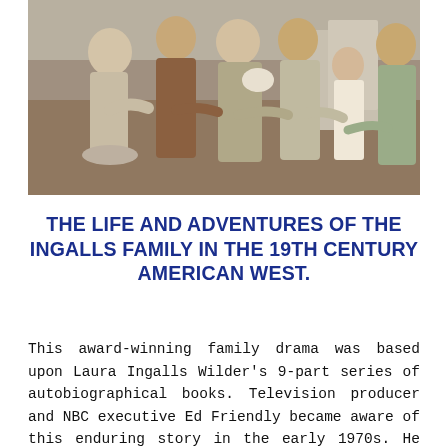[Figure (photo): A group photo of what appears to be actors from Little House on the Prairie, a family posing together in period costumes from the 19th century American West. Several adults and a young girl are seen embracing and smiling.]
THE LIFE AND ADVENTURES OF THE INGALLS FAMILY IN THE 19TH CENTURY AMERICAN WEST.
This award-winning family drama was based upon Laura Ingalls Wilder's 9-part series of autobiographical books. Television producer and NBC executive Ed Friendly became aware of this enduring story in the early 1970s. He asked Michael Landon to direct the pilot movie, who agreed on the condition that he could also play Charles